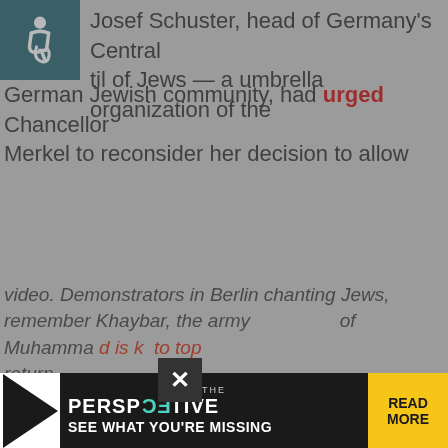Josef Schuster, head of Germany's Central Council of Jews — a umbrella organization of the German Jewish community, had urged Chancellor Merkel to reconsider her decision to allow
[Figure (screenshot): Yellow popup modal newsletter sign-up for 'Morning Insurrection' from Legal Insurrection, with JOIN NOW button and X close button]
video. Demonstrators in Berlin chanting 'Jews, remember Khaybar, the army of Muhammad is returning'
[Figure (advertisement): The Perspective ad banner at bottom: 'SEE WHAT YOU'RE MISSING' with READ MORE button]